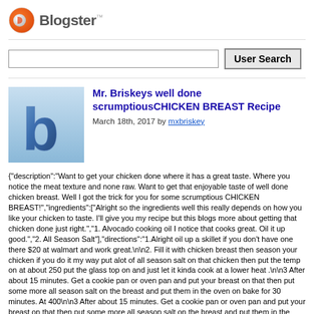Blogster
[Figure (screenshot): Search input box and User Search button]
[Figure (illustration): Blogster logo image showing a 3D blue letter b on light blue background]
Mr. Briskeys well done scrumptiousCHICKEN BREAST Recipe
March 18th, 2017 by mxbriskey
{"description":"Want to get your chicken done where it has a great taste. Where you notice the meat texture and none raw. Want to get that enjoyable taste of well done chicken breast. Well I got the trick for you for some scrumptious CHICKEN BREAST!","ingredients":["Alright so the ingredients well this really depends on how you like your chicken to taste. I'll give you my recipe but this blogs more about getting that chicken done just right.","1. Alvocado cooking oil I notice that cooks great. Oil it up good.","2. All Season Salt"],"directions":"1.Alright oil up a skillet if you don't have one there $20 at walmart and work great.\n\n2. Fill it with chicken breast then season your chicken if you do it my way put alot of all season salt on that chicken then put the temp on at about 250 put the glass top on and just let it kinda cook at a lower heat .\n\n3 After about 15 minutes. Get a cookie pan or oven pan and put your breast on that then put some more all season salt on the breast and put them in the oven on bake for 30 minutes. At 400\n\n3 After about 15 minutes. Get a cookie pan or oven pan and put your breast on that then put some more all season salt on the breast and put them in the oven on bake for 30 minutes at 400 degrees.\n\n4. Pull them out and let them cool for about 3 mins pull out the BBQ sauce or whatever you want and enjoy.\n\nI sure to like well done chicken breast and my dogs are going crazy for me to give them some also. Now im not a pro cooker but this works great to easily cook them fatty chicken breast. I'll tell you what im a happy camper right.